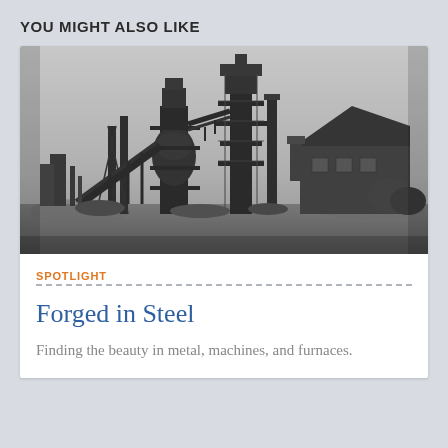YOU MIGHT ALSO LIKE
[Figure (photo): Black and white photograph of an industrial steel plant with blast furnace structures, towers, scaffolding, smokestacks, and a shed building in the foreground on a flat grassy area under an overcast sky.]
SPOTLIGHT
Forged in Steel
Finding the beauty in metal, machines, and furnaces.